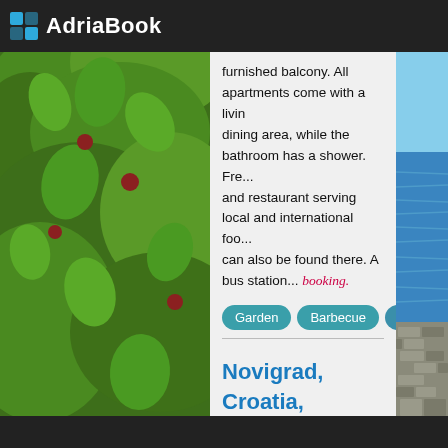AdriaBook
furnished balcony. All apartments come with a living dining area, while the bathroom has a shower. Fre... and restaurant serving local and international food... can also be found there. A bus station... booking.
Garden
Barbecue
Balcony
Kitchen
Show...
Novigrad, Croatia, Apartment in house for 1 person
[Figure (photo): Exterior photo of a multi-story apartment building in Croatia with arched balconies against a blue sky]